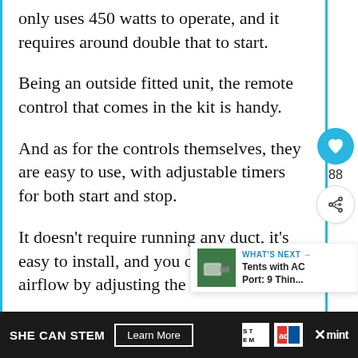only uses 450 watts to operate, and it requires around double that to start.
Being an outside fitted unit, the remote control that comes in the kit is handy.
And as for the controls themselves, they are easy to use, with adjustable timers for both start and stop.
It doesn't require running any duct, it's easy to install, and you can control airflow by adjusting the blades.
[Figure (screenshot): Web page UI elements: heart/like button (blue circle, 88 likes), share button, and a 'What's Next' card showing 'Tents with AC Port: 9 Thin...' with a thumbnail image]
[Figure (screenshot): Footer advertisement bar with dark background: 'SHE CAN STEM' with 'Learn More' button, STEM logo, Ad Council logo, X mark, and mint logo]